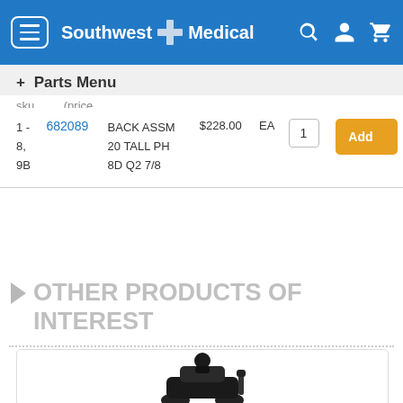Southwest Medical
+ Parts Menu
| Ref | Part # | Description | Price | UOM | Qty | Action |
| --- | --- | --- | --- | --- | --- | --- |
| 1 - 8, 9B | 682089 | BACK ASSM 20 TALL PH 8D Q2 7/8 | $228.00 | EA | 1 | Add |
▶ OTHER PRODUCTS OF INTEREST
[Figure (photo): Power wheelchair/scooter product image partially visible at bottom of page]